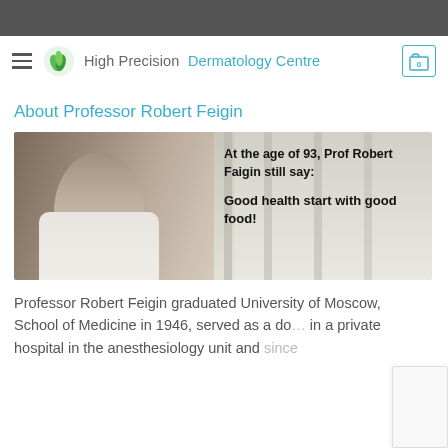High Precision Dermatology Centre
About Professor Robert Feigin
[Figure (photo): Photo of an elderly male doctor in white coat with stethoscope, overlaid with text: 'At the age of 93, Prof Robert Faigin still say: Good health start with good food!']
Professor Robert Feigin graduated University of Moscow, School of Medicine in 1946, served as a do... in a private hospital in the anesthesiology unit and since